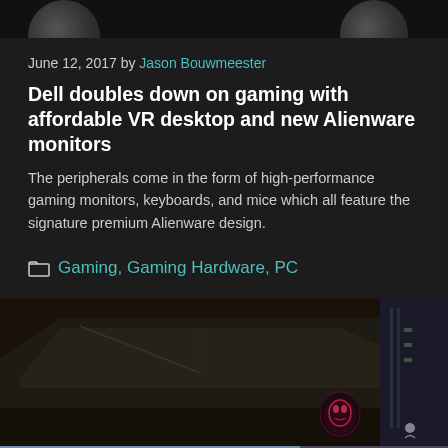[Figure (photo): Top strip showing partial circular objects against dark background]
June 12, 2017 by Jason Bouwmeester
Dell doubles down on gaming with affordable VR desktop and new Alienware monitors
The peripherals come in the form of high-performance gaming monitors, keyboards, and mice which all feature the signature premium Alienware design.
Gaming, Gaming Hardware, PC
[Figure (photo): Close-up photo of Alienware gaming desktop with angular black design and alien head logo glowing red/pink]
[Figure (photo): Advertisement banner showing an airplane being loaded with cargo, with text 'WITHOUT REGARD TO' overlaid]